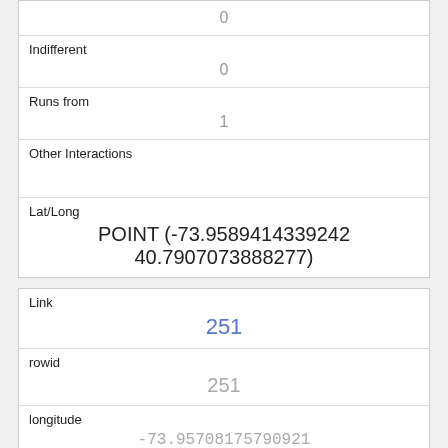| 0 |
| Indifferent | 0 |
| Runs from | 1 |
| Other Interactions |  |
| Lat/Long | POINT (-73.9589414339242 40.7907073888277) |
| Link | 251 |
| rowid | 251 |
| longitude | -73.95708175790921 |
| latitude | 40.7964221087879 |
| Unique Squirrel ID | 38D-AM-1017-02 |
| Hectare |  |